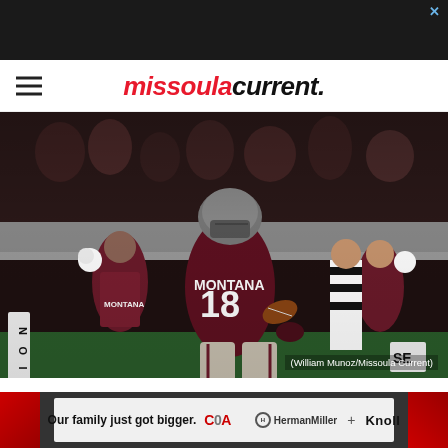[Figure (other): Top dark advertisement banner with close X button]
missoulacurrent.
[Figure (photo): Montana Grizzlies football player #18 running with the ball along the sideline, cheerleaders celebrating in background, referee visible. Photo credit: William Munoz/Missoula Current]
(William Munoz/Missoula Current)
GRIZ GET REDEMPTION ON
[Figure (other): Bottom advertisement banner: 'Our family just got bigger. COA | HermanMiller + Knoll']